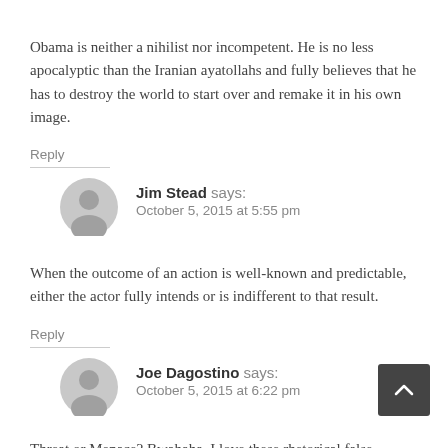Obama is neither a nihilist nor incompetent. He is no less apocalyptic than the Iranian ayatollahs and fully believes that he has to destroy the world to start over and remake it in his own image.
Reply
Jim Stead says: October 5, 2015 at 5:55 pm
When the outcome of an action is well-known and predictable, either the actor fully intends or is indifferent to that result.
Reply
Joe Dagostino says: October 5, 2015 at 6:22 pm
Threat or Menace? Bwahaha. I love these rhetorical false…